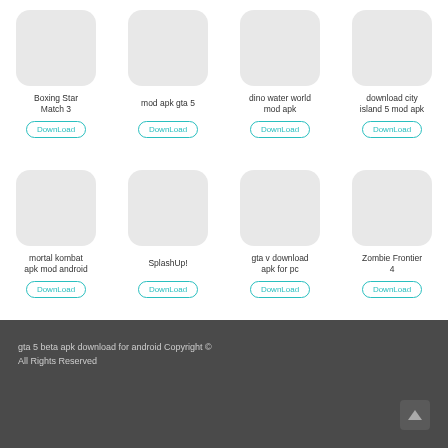[Figure (screenshot): Grid of 8 app entries each with a rounded rectangle placeholder icon, app name text, and a teal-outlined DownLoad button. Row 1: Boxing Star Match 3, mod apk gta 5, dino water world mod apk, download city island 5 mod apk. Row 2: mortal kombat apk mod android, SplashUp!, gta v download apk for pc, Zombie Frontier 4.]
gta 5 beta apk download for android Copyright © All Rights Reserved